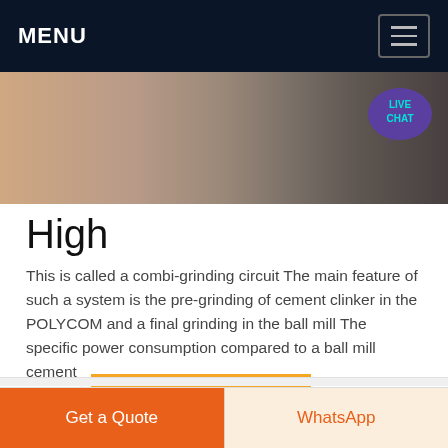MENU
[Figure (photo): Hero image showing ground cement material with sandy/dark tones, and a LIVE CHAT bubble in the top right corner]
High
This is called a combi-grinding circuit The main feature of such a system is the pre-grinding of cement clinker in the POLYCOM and a final grinding in the ball mill The specific power consumption compared to a ball mill cement
grinding
Get price
Get a Quote  WhatsApp